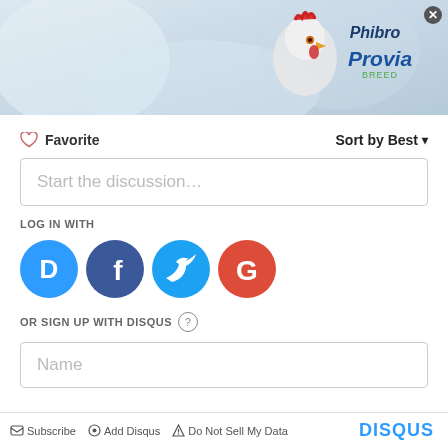[Figure (photo): Banner advertisement for Phibro Provia product featuring a white chicken/hen on a light blue/grey background, with a close button (X) in top right corner]
❤ Favorite   Sort by Best ▾
Start the discussion…
LOG IN WITH
[Figure (logo): Social login icons: Disqus (blue D), Facebook (dark blue f), Twitter (light blue bird), Google (red G)]
OR SIGN UP WITH DISQUS ?
Name
Be the first to comment.
✉ Subscribe  ✦ Add Disqus  ▲ Do Not Sell My Data   DISQUS